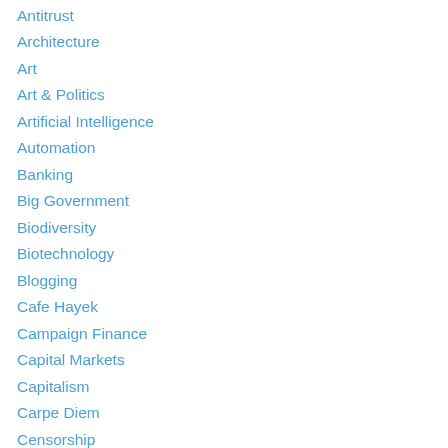Antitrust
Architecture
Art
Art & Politics
Artificial Intelligence
Automation
Banking
Big Government
Biodiversity
Biotechnology
Blogging
Cafe Hayek
Campaign Finance
Capital Markets
Capitalism
Carpe Diem
Censorship
Central Planning
Charity
Checks and Balances